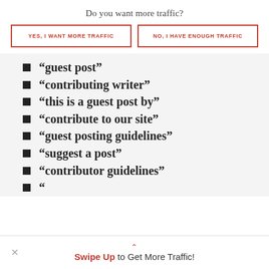Do you want more traffic?
YES, I WANT MORE TRAFFIC
NO, I HAVE ENOUGH TRAFFIC
“guest post”
“contributing writer”
“this is a guest post by”
“contribute to our site”
“guest posting guidelines”
“suggest a post”
“contributor guidelines”
“…”
Swipe Up to Get More Traffic!